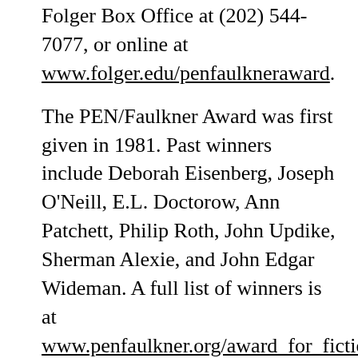Folger Box Office at (202) 544-7077, or online at www.folger.edu/penfaulkneraward.
The PEN/Faulkner Award was first given in 1981. Past winners include Deborah Eisenberg, Joseph O'Neill, E.L. Doctorow, Ann Patchett, Philip Roth, John Updike, Sherman Alexie, and John Edgar Wideman. A full list of winners is at www.penfaulkner.org/award_for_fiction.
The PEN/Faulkner Foundation is committed to building audiences for exceptional literature and bringing writers together